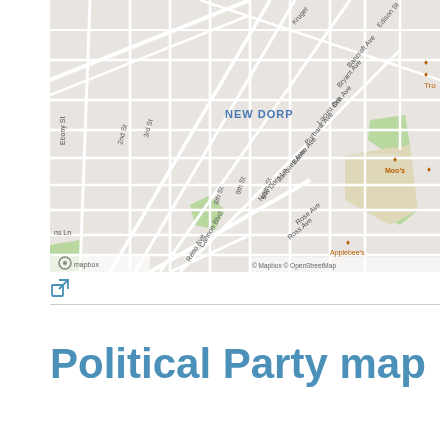[Figure (map): Street map of New Dorp neighborhood showing streets including Ebony St, 2nd St, 3rd St, 9th St, 10th St, Cannon Blvd, Reno Ave, Rose Ave, Ross Ave, New Dorp Ln, Jacques Ave, Bache Ave, Burbank Ave, Locust Ave, Otis Ave, Bryant Ave, Bancroft Ave, Edison St, Kruger St, and businesses including Moo's and Applebee's. Map provided by Mapbox and OpenStreetMap.]
[external link icon]
Political Party map